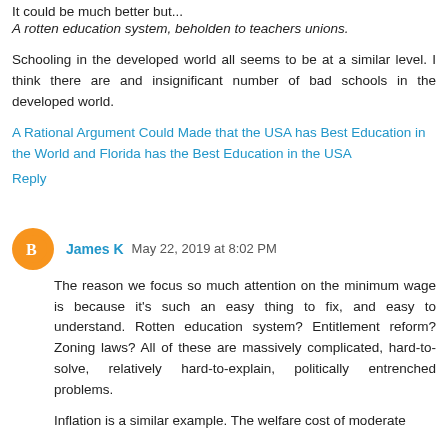It could be much better but...
A rotten education system, beholden to teachers unions.
Schooling in the developed world all seems to be at a similar level. I think there are and insignificant number of bad schools in the developed world.
A Rational Argument Could Made that the USA has Best Education in the World and Florida has the Best Education in the USA
Reply
James K  May 22, 2019 at 8:02 PM
The reason we focus so much attention on the minimum wage is because it's such an easy thing to fix, and easy to understand. Rotten education system? Entitlement reform? Zoning laws? All of these are massively complicated, hard-to-solve, relatively hard-to-explain, politically entrenched problems.
Inflation is a similar example. The welfare cost of moderate